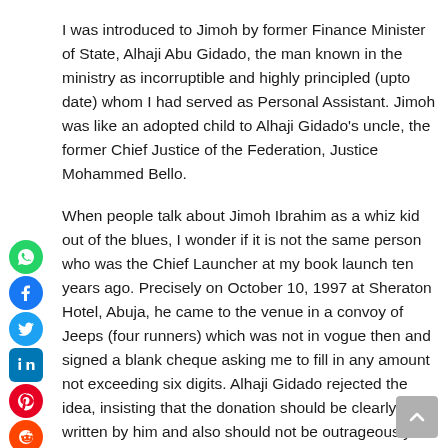I was introduced to Jimoh by former Finance Minister of State, Alhaji Abu Gidado, the man known in the ministry as incorruptible and highly principled (upto date) whom I had served as Personal Assistant. Jimoh was like an adopted child to Alhaji Gidado's uncle, the former Chief Justice of the Federation, Justice Mohammed Bello.
When people talk about Jimoh Ibrahim as a whiz kid out of the blues, I wonder if it is not the same person who was the Chief Launcher at my book launch ten years ago. Precisely on October 10, 1997 at Sheraton Hotel, Abuja, he came to the venue in a convoy of Jeeps (four runners) which was not in vogue then and signed a blank cheque asking me to fill in any amount not exceeding six digits. Alhaji Gidado rejected the idea, insisting that the donation should be clearly written by him and also should not be outrageously higher than that of the Hon. Minister of Finance, Chief Anthony Ani who was the Chairman of the occasion. But for Alh Gidado, I could have scribbled down N999, 999! The ceremony had in attendance top functionaries including the present Principal Private